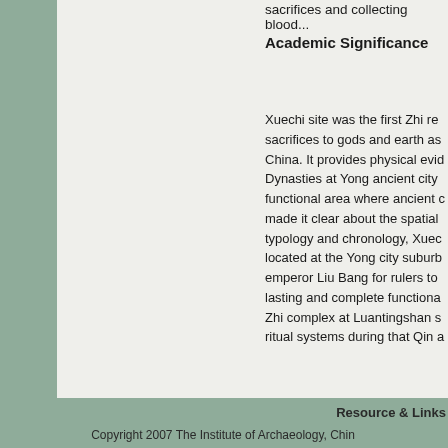sacrifices and collecting blood...
Academic Significance
Xuechi site was the first Zhi re sacrifices to gods and earth as China. It provides physical evid Dynasties at Yong ancient city functional area where ancient c made it clear about the spatial typology and chronology, Xued located at the Yong city suburb emperor Liu Bang for rulers to lasting and complete functiona Zhi complex at Luantingshan s ritual systems during that Qin a
Resource & Links
Copyright 2007 The Institute of Archaeology, Chin